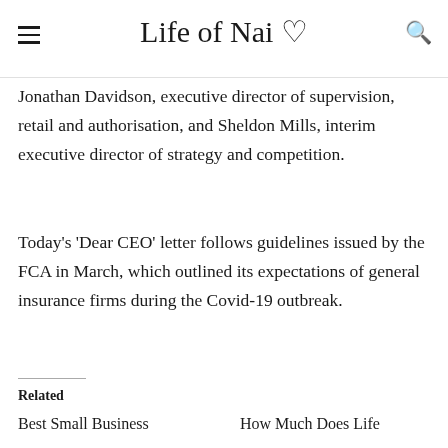Life of Nai ♡
Jonathan Davidson, executive director of supervision, retail and authorisation, and Sheldon Mills, interim executive director of strategy and competition.
Today's 'Dear CEO' letter follows guidelines issued by the FCA in March, which outlined its expectations of general insurance firms during the Covid-19 outbreak.
Related
Best Small Business
How Much Does Life